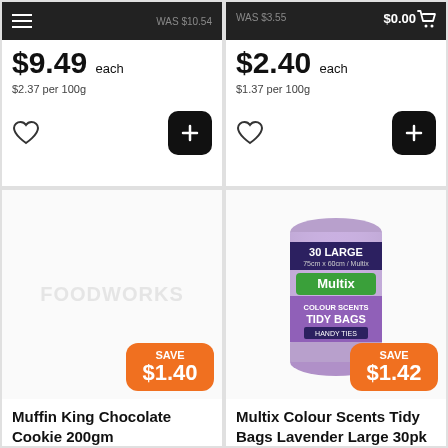$0.00
WAS $10.54
$9.49 each
$2.37 per 100g
WAS $3.55
$2.40 each
$1.37 per 100g
[Figure (illustration): FoodWorks watermark placeholder for Muffin King Chocolate Cookie 200gm with SAVE $1.40 badge]
SAVE $1.40
Muffin King Chocolate Cookie 200gm
[Figure (photo): Multix Colour Scents Tidy Bags Lavender Large 30pk product image with SAVE $1.42 badge]
SAVE $1.42
Multix Colour Scents Tidy Bags Lavender Large 30pk